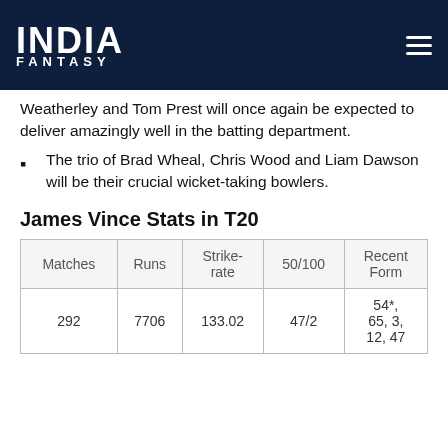INDIA FANTASY
Weatherley and Tom Prest will once again be expected to deliver amazingly well in the batting department.
The trio of Brad Wheal, Chris Wood and Liam Dawson will be their crucial wicket-taking bowlers.
James Vince Stats in T20
| Matches | Runs | Strike-rate | 50/100 | Recent Form |
| --- | --- | --- | --- | --- |
| 292 | 7706 | 133.02 | 47/2 | 54*, 65, 3, 12, 47 |